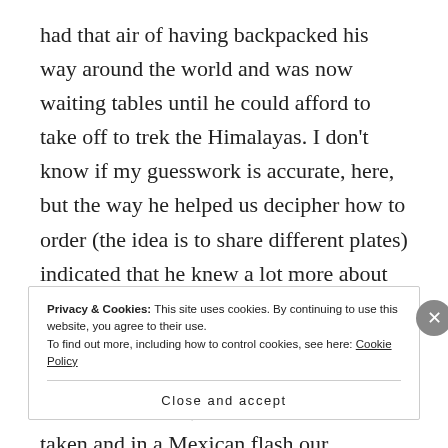had that air of having backpacked his way around the world and was now waiting tables until he could afford to take off to trek the Himalayas. I don't know if my guesswork is accurate, here, but the way he helped us decipher how to order (the idea is to share different plates) indicated that he knew a lot more about Mexican food than your average English waiter, most likely from personal experience of The Real Deal. Before we had time to settle, our order had been taken and in a Mexican flash our guacamole and tortilla chips arrived. The only complaint here would
Privacy & Cookies: This site uses cookies. By continuing to use this website, you agree to their use.
To find out more, including how to control cookies, see here: Cookie Policy
Close and accept